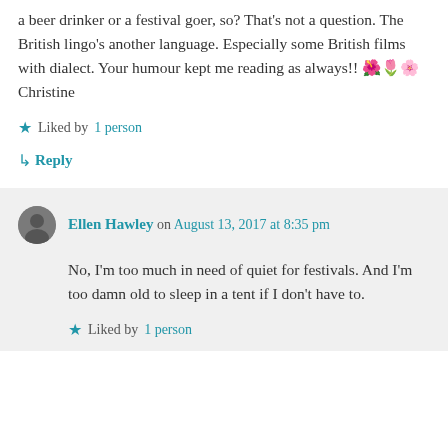a beer drinker or a festival goer, so? That's not a question. The British lingo's another language. Especially some British films with dialect. Your humour kept me reading as always!! 🌺🌷🌸 Christine
★ Liked by 1 person
↳ Reply
Ellen Hawley on August 13, 2017 at 8:35 pm
No, I'm too much in need of quiet for festivals. And I'm too damn old to sleep in a tent if I don't have to.
★ Liked by 1 person